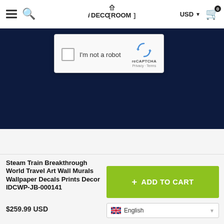iDECOROOM — USD — Cart (0)
[Figure (screenshot): reCAPTCHA widget with checkbox 'I'm not a robot' and reCAPTCHA logo/branding]
Steam Train Breakthrough World Travel Art Wall Murals Wallpaper Decals Prints Decor IDCWP-JB-000141
$259.99 USD
[Figure (other): ADD TO CART button in lime green]
English language selector dropdown